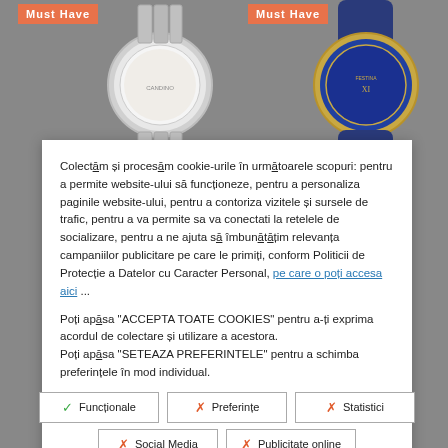[Figure (photo): Two watches on gray background with 'Must Have' orange badges. Left: silver Casio watch. Right: blue/gold Festina watch.]
Colectăm și procesăm cookie-urile în următoarele scopuri: pentru a permite website-ului să funcționeze, pentru a personaliza paginile website-ului, pentru a contoriza vizitele și sursele de trafic, pentru a va permite sa va conectati la retelele de socializare, pentru a ne ajuta să îmbunătățim relevanța campaniilor publicitare pe care le primiți, conform Politicii de Protecție a Datelor cu Caracter Personal, pe care o poți accesa aici ...
Poți apăsa "ACCEPTA TOATE COOKIES" pentru a-ți exprima acordul de colectare și utilizare a acestora.
Poți apăsa "SETEAZA PREFERINTELE" pentru a schimba preferințele în mod individual.
✓ Funcționale
✗ Preferințe
✗ Statistici
✗ Social Media
✗ Publicitate online